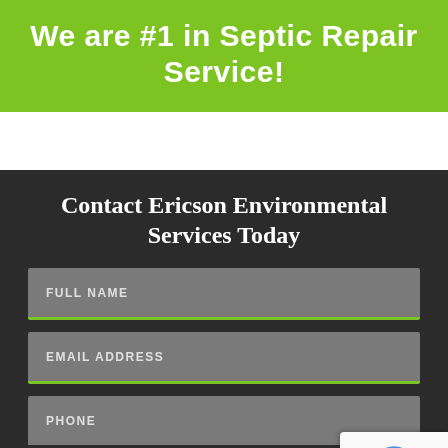We are #1 in Septic Repair Service!
Contact Ericson Environmental Services Today
FULL NAME
EMAIL ADDRESS
PHONE
MESSAGE